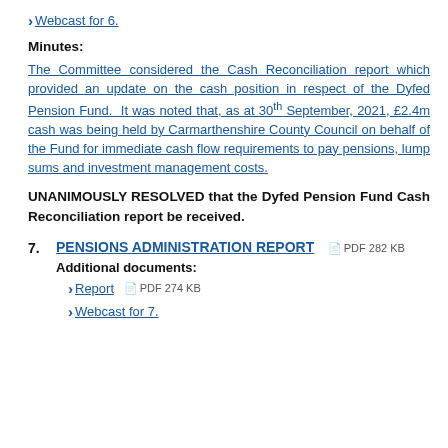Webcast for 6.
Minutes:
The Committee considered the Cash Reconciliation report which provided an update on the cash position in respect of the Dyfed Pension Fund. It was noted that, as at 30th September, 2021, £2.4m cash was being held by Carmarthenshire County Council on behalf of the Fund for immediate cash flow requirements to pay pensions, lump sums and investment management costs.
UNANIMOUSLY RESOLVED that the Dyfed Pension Fund Cash Reconciliation report be received.
7. PENSIONS ADMINISTRATION REPORT PDF 282 KB Additional documents:
Report PDF 274 KB
Webcast for 7.